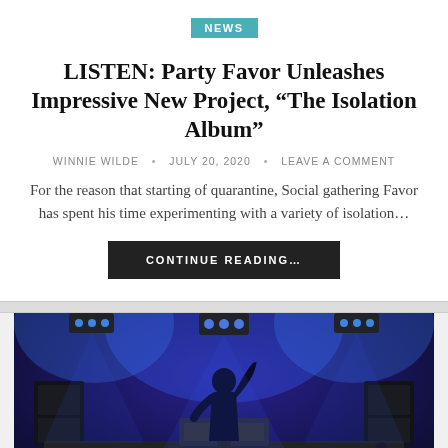NEWS
LISTEN: Party Favor Unleashes Impressive New Project, “The Isolation Album”
WINNIE WILDE • JULY 20, 2020 • LEAVE A COMMENT
For the reason that starting of quarantine, Social gathering Favor has spent his time experimenting with a variety of isolation…
CONTINUE READING…
[Figure (photo): Concert photo showing a DJ silhouette on stage with blue stage lighting and checkerboard floor, with audience members in the foreground raising their hands.]